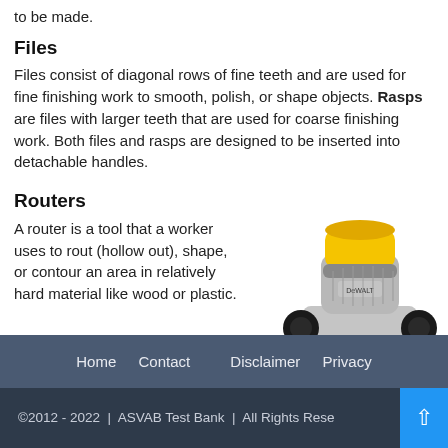to be made.
Files
Files consist of diagonal rows of fine teeth and are used for fine finishing work to smooth, polish, or shape objects. Rasps are files with larger teeth that are used for coarse finishing work. Both files and rasps are designed to be inserted into detachable handles.
Routers
A router is a tool that a worker uses to rout (hollow out), shape, or contour an area in relatively hard material like wood or plastic.
[Figure (photo): A yellow and black DeWalt plunge router power tool photographed from the front]
Home   Contact   Disclaimer   Privacy
©2012 - 2022  |  ASVAB Test Bank  |  All Rights Rese